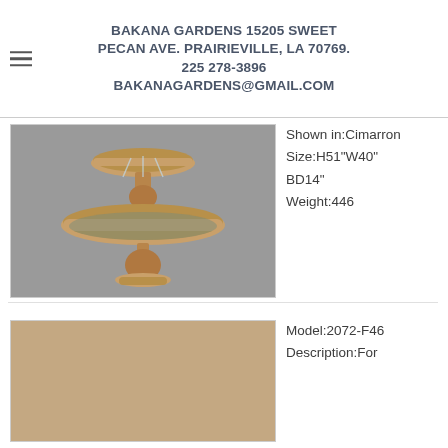BAKANA GARDENS 15205 SWEET PECAN AVE. PRAIRIEVILLE, LA 70769. 225 278-3896 BAKANAGARDENS@GMAIL.COM
[Figure (photo): Two-tiered stone garden fountain shown in Cimarron finish, against a gray background]
Shown in:Cimarron Size:H51"W40" BD14" Weight:446
[Figure (photo): Partial view of a garden product in a light tan/brown color]
Model:2072-F46 Description:For